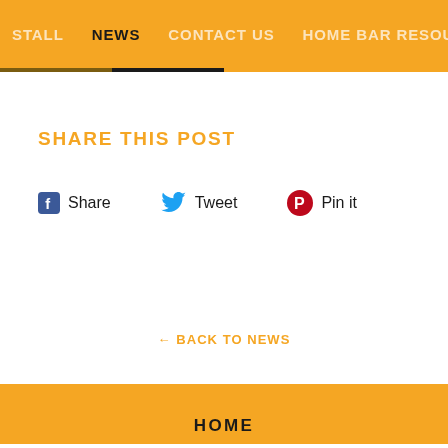STALL  NEWS  CONTACT US  HOME BAR RESOU
SHARE THIS POST
Share  Tweet  Pin it
← BACK TO NEWS
HOME